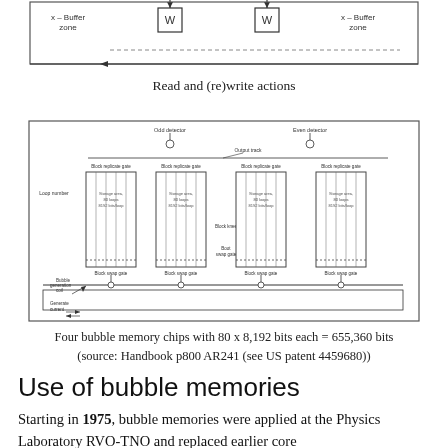[Figure (schematic): Top portion of a schematic diagram showing read and (re)write actions with W boxes and buffer zones connected by arrows]
Read and (re)write actions
[Figure (engineering-diagram): Four bubble memory chips diagram showing block replicate gates, block swap gates, storage areas with 80 loops 8192 bits/loop, odd detector, even detector, output track, loop number, bubble generation coil, and generate current labels]
Four bubble memory chips with 80 x 8,192 bits each = 655,360 bits (source: Handbook p800 AR241 (see US patent 4459680))
Use of bubble memories
Starting in 1975, bubble memories were applied at the Physics Laboratory RVO-TNO and replaced earlier core